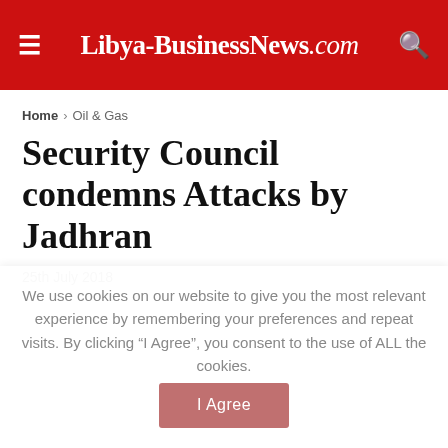Libya-BusinessNews.com
Home > Oil & Gas
Security Council condemns Attacks by Jadhran
25th July 2018
[Figure (other): Image placeholder / advertisement area, light gray background]
We use cookies on our website to give you the most relevant experience by remembering your preferences and repeat visits. By clicking “I Agree”, you consent to the use of ALL the cookies.